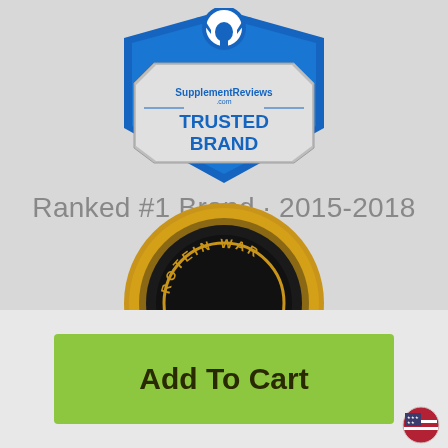[Figure (logo): SupplementReviews.com Trusted Brand badge with blue shield shape and muscular figure on top]
Ranked #1 Brand · 2015-2018
[Figure (logo): Protein War gold medal award badge, partially visible at bottom of top section]
Add To Cart
[Figure (logo): US flag circular icon in bottom right corner]